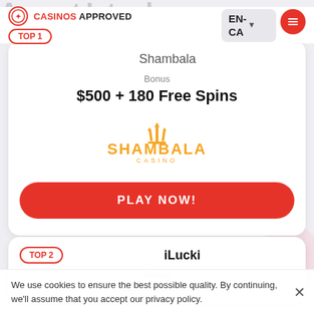CASINOS APPROVED | EN-CA
Shambala
Bonus
$500 + 180 Free Spins
[Figure (logo): Shambala Casino logo with orange trident and text SHAMBALA CASINO]
PLAY NOW!
TOP 2
iLucki
Bonus
C$900 + 150 FS
We use cookies to ensure the best possible quality. By continuing, we'll assume that you accept our privacy policy.